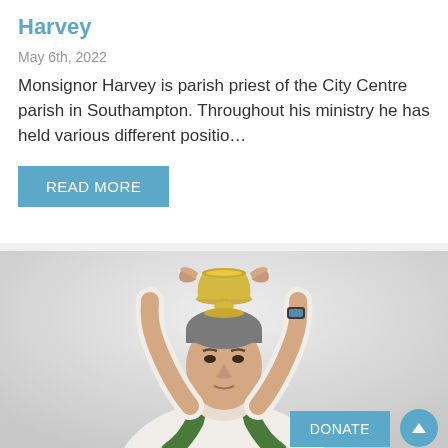Harvey
May 6th, 2022
Monsignor Harvey is parish priest of the City Centre parish in Southampton. Throughout his ministry he has held various different positio…
READ MORE
[Figure (photo): A priest in white and green vestments holding up a chalice or sacred vessel overhead, looking upward, photographed from below against a light background.]
DONATE